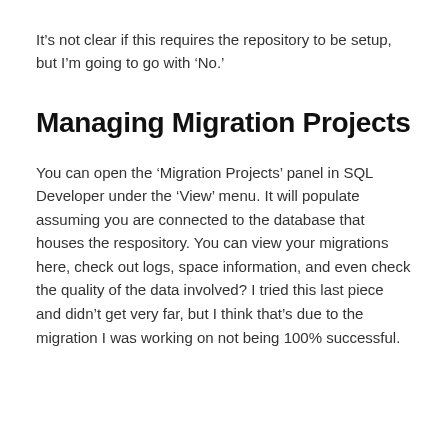It’s not clear if this requires the repository to be setup, but I’m going to go with ‘No.’
Managing Migration Projects
You can open the ‘Migration Projects’ panel in SQL Developer under the ‘View’ menu. It will populate assuming you are connected to the database that houses the respository. You can view your migrations here, check out logs, space information, and even check the quality of the data involved? I tried this last piece and didn’t get very far, but I think that’s due to the migration I was working on not being 100% successful.